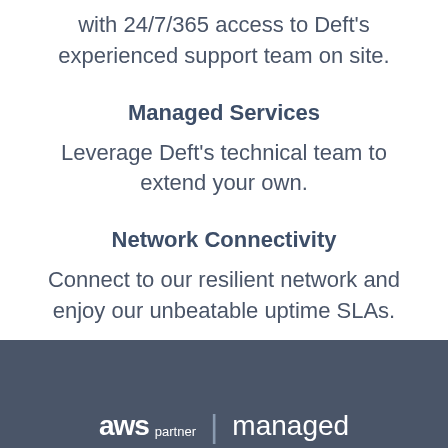with 24/7/365 access to Deft's experienced support team on site.
Managed Services
Leverage Deft's technical team to extend your own.
Network Connectivity
Connect to our resilient network and enjoy our unbeatable uptime SLAs.
aws partner | managed